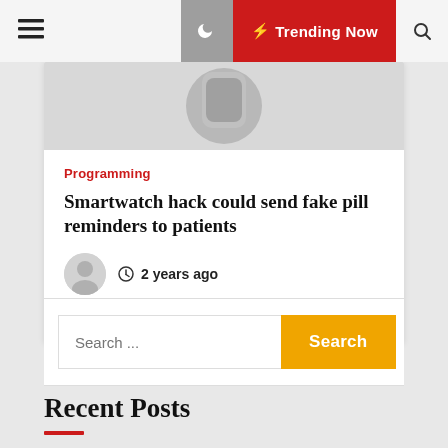Trending Now
[Figure (photo): Smartwatch image at top of article card]
Programming
Smartwatch hack could send fake pill reminders to patients
2 years ago
... Read More
Search ...
Recent Posts